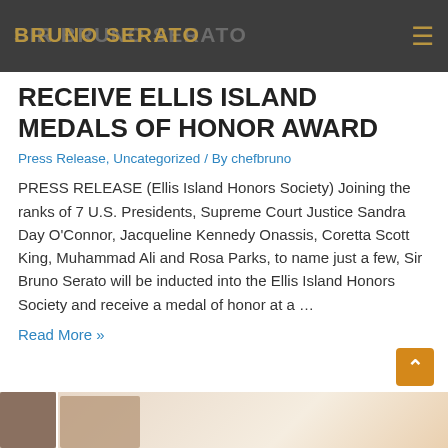SIR BRUNO SERATO
RECEIVE ELLIS ISLAND MEDALS OF HONOR AWARD
Press Release, Uncategorized / By chefbruno
PRESS RELEASE (Ellis Island Honors Society) Joining the ranks of 7 U.S. Presidents, Supreme Court Justice Sandra Day O'Connor, Jacqueline Kennedy Onassis, Coretta Scott King, Muhammad Ali and Rosa Parks, to name just a few, Sir Bruno Serato will be inducted into the Ellis Island Honors Society and receive a medal of honor at a …
Read More »
[Figure (photo): Partial photo of a person visible at the bottom of the page]